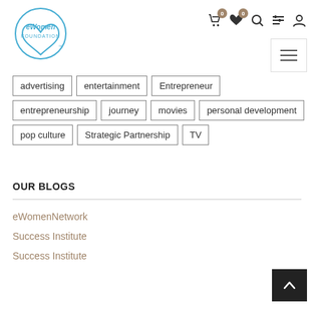[Figure (logo): eWomen Foundation circular logo with heart outline]
Navigation icons: cart (0), wishlist (0), search, filter, account. Hamburger menu button.
advertising
entertainment
Entrepreneur
entrepreneurship
journey
movies
personal development
pop culture
Strategic Partnership
TV
OUR BLOGS
eWomenNetwork
Success Institute
Success Institute